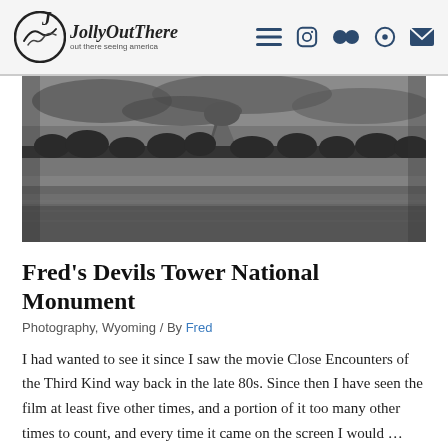JollyOutThere - out there seeing america
[Figure (photo): Black and white wide landscape photo showing Devils Tower National Monument, with grassland in the foreground and trees and rock formation in the background under a cloudy sky.]
Fred's Devils Tower National Monument
Photography, Wyoming / By Fred
I had wanted to see it since I saw the movie Close Encounters of the Third Kind way back in the late 80s. Since then I have seen the film at least five other times, and a portion of it too many other times to count, and every time it came on the screen I would …
Read More